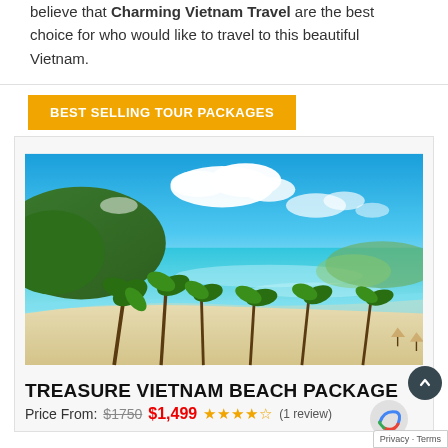believe that Charming Vietnam Travel are the best choice for who would like to travel to this beautiful Vietnam.
BEST SELLING TOUR PACKAGES
[Figure (photo): Tropical Vietnamese beach scene with turquoise water, white sand, palm trees, and green hills under a bright blue sky with white clouds.]
TREASURE VIETNAM BEACH PACKAGE
Price From: $1750 $1,499 ★★★★☆ (1 review)